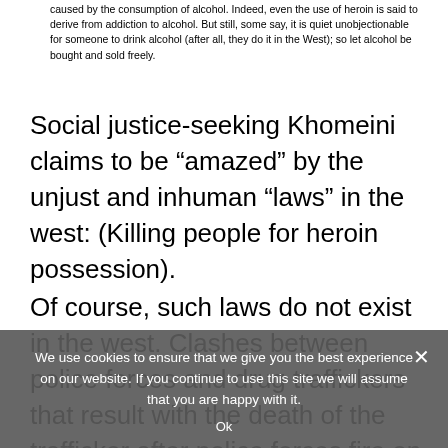caused by the consumption of alcohol. Indeed, even the use of heroin is said to derive from addiction to alcohol. But still, some say, it is quiet unobjectionable for someone to drink alcohol (after all, they do it in the West); so let alcohol be bought and sold freely.
Social justice-seeking Khomeini claims to be “amazed” by the unjust and inhuman “laws” in the west: (Killing people for heroin possession).
Of course, such laws do not exist in the west. Clashes between police forces and drug traffickers that result with the death of the trafficker after police forces fire on him, do not count as “Laws in the west”. However, such laws do exist in Iran and in fact, Iran ranks second in the world for most executions.
Khomeini then justifies killing drug traffickers “Not those who simply possess ten grams of heroin” in this
We use cookies to ensure that we give you the best experience on our website. If you continue to use this site we will assume that you are happy with it.
Ok